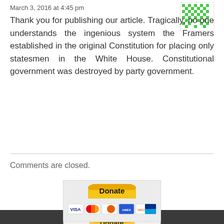March 3, 2016 at 4:45 pm
Thank you for publishing our article. Tragically, no one understands the ingenious system the Framers established in the original Constitution for placing only statesmen in the White House. Constitutional government was destroyed by party government.
[Figure (other): Green pixel avatar image in top right corner]
Comments are closed.
[Figure (other): PayPal Donate button with credit card logos (VISA, Mastercard, Discover, etc.) in a light grey box]
Donate to NoisyRoom.net
Support American Values...
[Figure (other): Second PayPal Donate button with credit card logos in a light grey box, on dark background]
Donate to